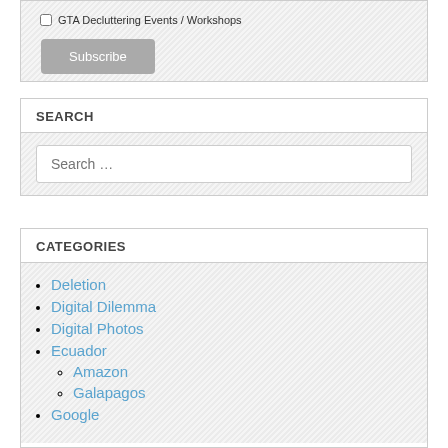GTA Decluttering Events / Workshops
Subscribe
SEARCH
Search …
CATEGORIES
Deletion
Digital Dilemma
Digital Photos
Ecuador
Amazon
Galapagos
Google